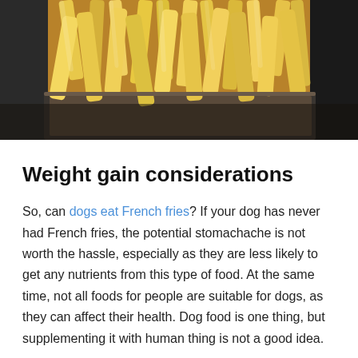[Figure (photo): Close-up photo of French fries in a container, viewed from above against a dark background]
Weight gain considerations
So, can dogs eat French fries? If your dog has never had French fries, the potential stomachache is not worth the hassle, especially as they are less likely to get any nutrients from this type of food. At the same time, not all foods for people are suitable for dogs, as they can affect their health. Dog food is one thing, but supplementing it with human thing is not a good idea.